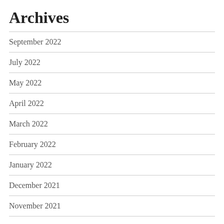Archives
September 2022
July 2022
May 2022
April 2022
March 2022
February 2022
January 2022
December 2021
November 2021